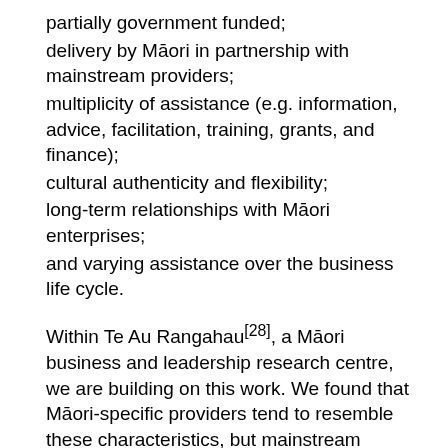partially government funded;
delivery by Māori in partnership with mainstream providers;
multiplicity of assistance (e.g. information, advice, facilitation, training, grants, and finance);
cultural authenticity and flexibility;
long-term relationships with Māori enterprises;
and varying assistance over the business life cycle.
Within Te Au Rangahau[28], a Māori business and leadership research centre, we are building on this work. We found that Māori-specific providers tend to resemble these characteristics, but mainstream providers could improve.
Research[29] identifies three key competencies that consistently matter to Māori entrepreneurs: cultural